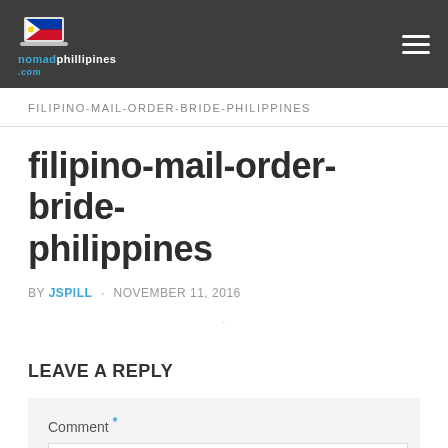nomadphilippines.com
FILIPINO-MAIL-ORDER-BRIDE-PHILIPPINES
filipino-mail-order-bride-philippines
BY JSPILL · NOVEMBER 11, 2016
LEAVE A REPLY
Comment *